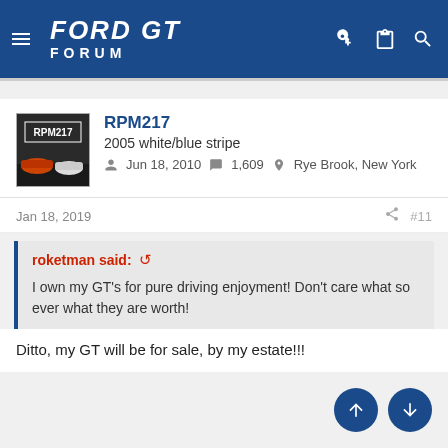FORD GT FORUM
RPM217
2005 white/blue stripe
Jun 18, 2010  1,609  Rye Brook, New York
Jan 18, 2019  #11
roketman said:  I own my GT's for pure driving enjoyment! Don't care what so ever what they are worth!
Ditto, my GT will be for sale, by my estate!!!